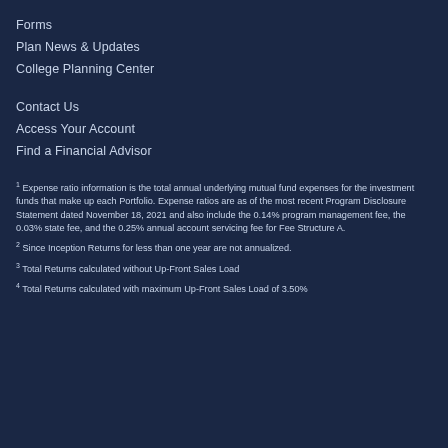Forms
Plan News & Updates
College Planning Center
Contact Us
Access Your Account
Find a Financial Advisor
1 Expense ratio information is the total annual underlying mutual fund expenses for the investment funds that make up each Portfolio. Expense ratios are as of the most recent Program Disclosure Statement dated November 18, 2021 and also include the 0.14% program management fee, the 0.03% state fee, and the 0.25% annual account servicing fee for Fee Structure A.
2 Since Inception Returns for less than one year are not annualized.
3 Total Returns calculated without Up-Front Sales Load
4 Total Returns calculated with maximum Up-Front Sales Load of 3.50%